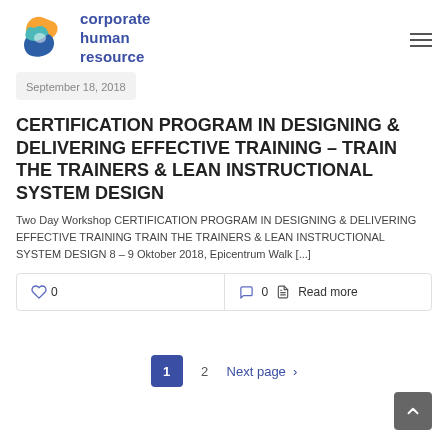corporate human resource
September 18, 2018
CERTIFICATION PROGRAM IN DESIGNING & DELIVERING EFFECTIVE TRAINING – TRAIN THE TRAINERS & LEAN INSTRUCTIONAL SYSTEM DESIGN
Two Day Workshop CERTIFICATION PROGRAM IN DESIGNING & DELIVERING EFFECTIVE TRAINING TRAIN THE TRAINERS & LEAN INSTRUCTIONAL SYSTEM DESIGN 8 – 9 Oktober 2018, Epicentrum Walk [...]
0   0   Read more
1  2  Next page >